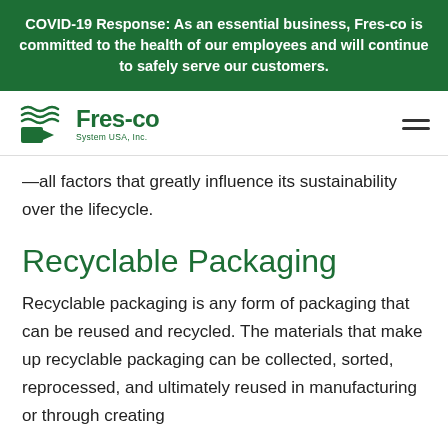COVID-19 Response: As an essential business, Fres-co is committed to the health of our employees and will continue to safely serve our customers.
[Figure (logo): Fres-co System USA, Inc. logo with green wave/arrow icon and company name]
—all factors that greatly influence its sustainability over the lifecycle.
Recyclable Packaging
Recyclable packaging is any form of packaging that can be reused and recycled. The materials that make up recyclable packaging can be collected, sorted, reprocessed, and ultimately reused in manufacturing or through creating